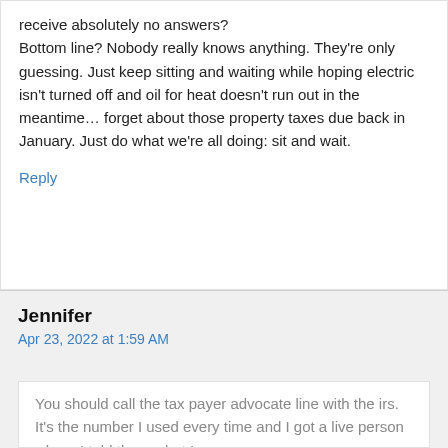receive absolutely no answers? Bottom line? Nobody really knows anything. They're only guessing. Just keep sitting and waiting while hoping electric isn't turned off and oil for heat doesn't run out in the meantime… forget about those property taxes due back in January. Just do what we're all doing: sit and wait.
Reply
Jennifer
Apr 23, 2022 at 1:59 AM
You should call the tax payer advocate line with the irs. It's the number I used every time and I got a live person where I told them what I was...